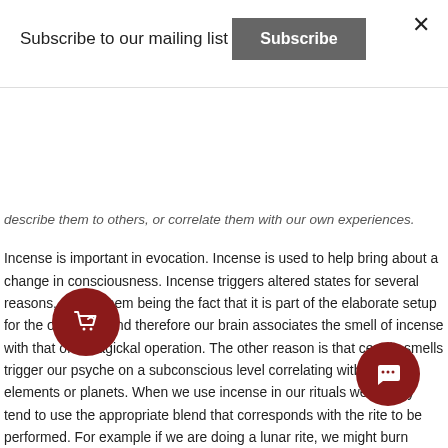Subscribe to our mailing list
Subscribe
describe them to others, or correlate them with our own experiences.
Incense is important in evocation. Incense is used to help bring about a change in consciousness. Incense triggers altered states for several reasons, one of them being the fact that it is part of the elaborate setup for the operation and therefore our brain associates the smell of incense with that of a magickal operation. The other reason is that certain smells trigger our psyche on a subconscious level correlating with different elements or planets. When we use incense in our rituals we usually tend to use the appropriate blend that corresponds with the rite to be performed. For example if we are doing a lunar rite, we might burn some jasmine, which will effect our subconscious and open us up more readily to the forces that are necessary for the working. Incense can also be used to attract the spirit to the area of working. A corresponding incense can be used to help replicate the entities own world, or Dittany of Crete can be used as a thick billowing incense for the entity to manifest